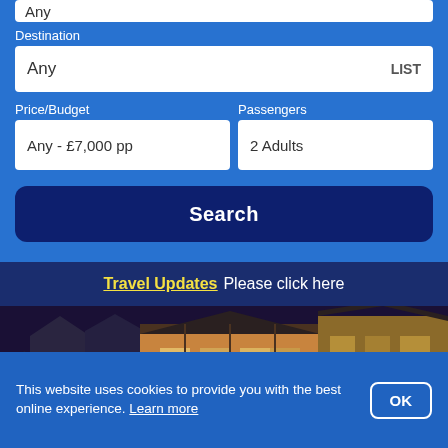Any
Destination
Any  LIST
Price/Budget
Passengers
Any - £7,000 pp
2 Adults
Search
Travel Updates Please click here
[Figure (photo): Nighttime photo of European-style buildings with colourful lights, appears to be a Christmas market street scene]
This website uses cookies to provide you with the best online experience. Learn more  OK